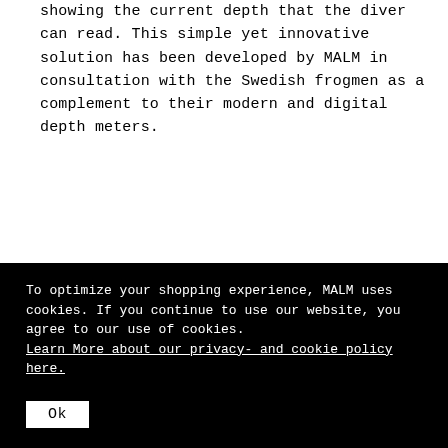showing the current depth that the diver can read. This simple yet innovative solution has been developed by MALM in consultation with the Swedish frogmen as a complement to their modern and digital depth meters.
To optimize your shopping experience, MALM uses cookies. If you continue to use our website, you agree to our use of cookies. Learn More about our privacy- and cookie policy here.
Ok